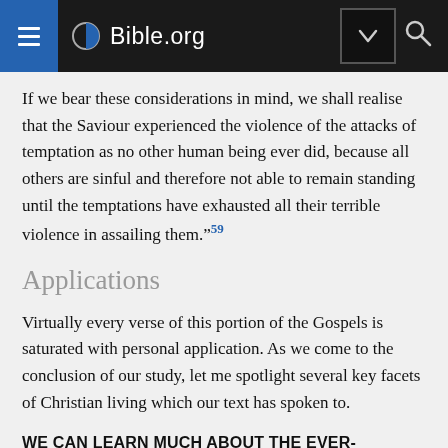Bible.org
If we bear these considerations in mind, we shall realise that the Saviour experienced the violence of the attacks of temptation as no other human being ever did, because all others are sinful and therefore not able to remain standing until the temptations have exhausted all their terrible violence in assailing them.”59
Applications
Virtually every verse of this portion of the Gospels is saturated with personal application. As we come to the conclusion of our study, let me spotlight several key facets of Christian living which our text has spoken to.
WE CAN LEARN MUCH ABOUT THE EVER-PRESENT REALITY OF TEMPTATION.